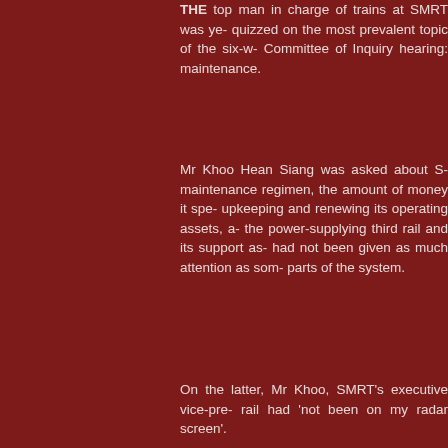THE top man in charge of trains at SMRT was ye- quizzed on the most prevalent topic of the six-w- Committee of Inquiry hearing: maintenance.
Mr Khoo Hean Siang was asked about S- maintenance regimen, the amount of money it spe- upkeeping and renewing its operating assets, a- the power-supplying third rail and its support as- had not been given as much attention as som- parts of the system.
On the latter, Mr Khoo, SMRT's executive vice-pre- rail had 'not been on my radar screen'.
'In my 25 years at SMRT, I've never come across a-
The veteran said vibration was one likely cause for-
The Attorney-General's Chambers (AGC) asked M- spots on train wheels, a leading cause of increas-